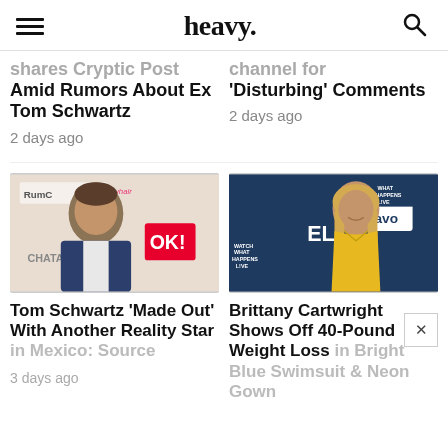heavy.
shares Cryptic Post Amid Rumors About Ex Tom Schwartz
2 days ago
channel for 'Disturbing' Comments
2 days ago
[Figure (photo): Photo of Tom Schwartz at an event with OK! and Chata logos in background]
[Figure (photo): Photo of Brittany Cartwright at a Bravo Watch What Happens Live event in yellow dress]
Tom Schwartz 'Made Out' With Another Reality Star in Mexico: Source
3 days ago
Brittany Cartwright Shows Off 40-Pound Weight Loss in Bright Blue Swimsuit & Neon Gown